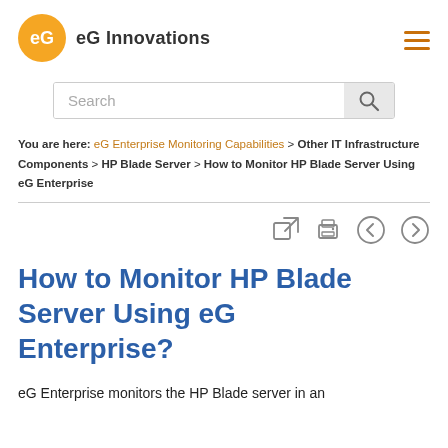[Figure (logo): eG Innovations logo: orange circle with stylized 'eG' icon and 'eG Innovations' text beside it]
[Figure (other): Hamburger menu icon (three horizontal orange lines) in top right corner]
[Figure (other): Search bar with placeholder text 'Search' and a search button with magnifying glass icon]
You are here: eG Enterprise Monitoring Capabilities > Other IT Infrastructure Components > HP Blade Server > How to Monitor HP Blade Server Using eG Enterprise
[Figure (other): Toolbar with four icons: expand/fullscreen, print, back arrow, forward arrow]
How to Monitor HP Blade Server Using eG Enterprise?
eG Enterprise monitors the HP Blade server in an